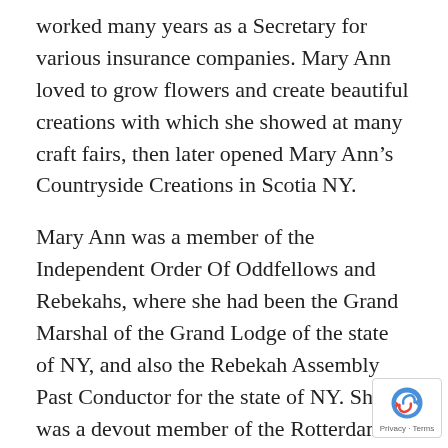worked many years as a Secretary for various insurance companies. Mary Ann loved to grow flowers and create beautiful creations with which she showed at many craft fairs, then later opened Mary Ann’s Countryside Creations in Scotia NY.
Mary Ann was a member of the Independent Order Of Oddfellows and Rebekahs, where she had been the Grand Marshal of the Grand Lodge of the state of NY, and also the Rebekah Assembly Past Conductor for the state of NY. She was a devout member of the Rotterdam United Methodist Church. Mary Ann loved to Garden, she also was a